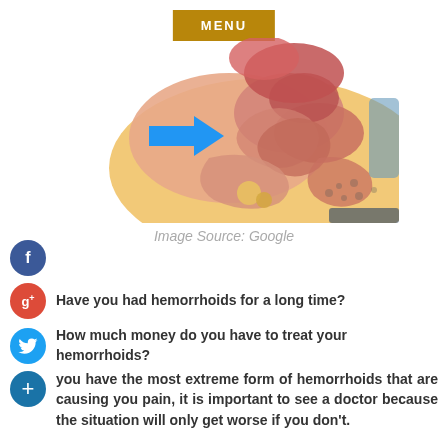MENU
[Figure (illustration): Medical cross-section illustration showing hemorrhoid anatomy with a blue arrow pointing to the affected area]
Image Source: Google
Have you had hemorrhoids for a long time?
How much money do you have to treat your hemorrhoids?
you have the most extreme form of hemorrhoids that are causing you pain, it is important to see a doctor because the situation will only get worse if you don't.